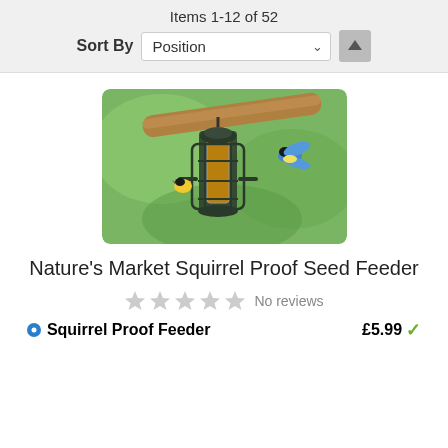Items 1-12 of 52
Sort By  Position
[Figure (photo): A squirrel-proof bird seed feeder with metal cage hanging from a tree branch, with two birds (great tits) near it, on a green blurred background.]
Nature's Market Squirrel Proof Seed Feeder
No reviews
Squirrel Proof Feeder   £5.99